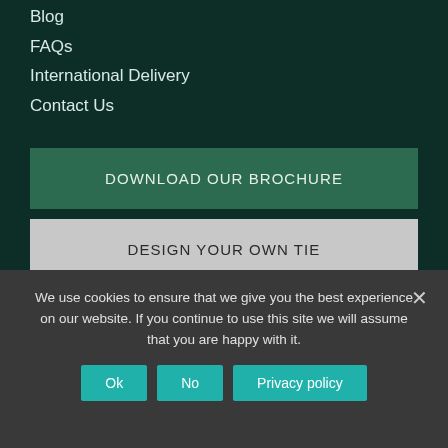Blog
FAQs
International Delivery
Contact Us
DOWNLOAD OUR BROCHURE
DESIGN YOUR OWN TIE
GET A QUOTE
We use cookies to ensure that we give you the best experience on our website. If you continue to use this site we will assume that you are happy with it.
Ok
No
Privacy policy